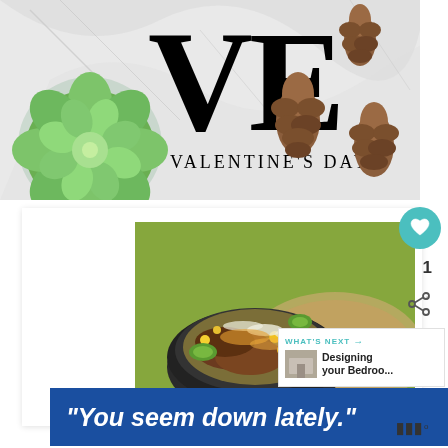[Figure (photo): Magazine-style Valentine's Day header with large 'VE' letters, a green succulent plant, pine cones on a marble background, and text reading 'VALENTINE'S DAY']
[Figure (photo): Food bowl photo showing a dark bowl with ground meat, vegetables, zucchini noodles on a wooden board with green mat background]
1
WHAT'S NEXT → Designing your Bedroo...
"You seem down lately."